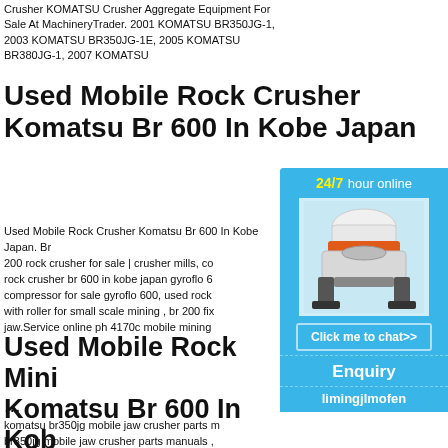Crusher KOMATSU Crusher Aggregate Equipment For Sale At MachineryTrader. 2001 KOMATSU BR350JG-1, 2003 KOMATSU BR350JG-1E, 2005 KOMATSU BR380JG-1, 2007 KOMATSU
Used Mobile Rock Crusher Komatsu Br 600 In Kobe Japan
Used Mobile Rock Crusher Komatsu Br 600 In Kobe Japan. Br 200 rock crusher for sale | crusher mills, co rock crusher br 600 in kobe japan gyroflo 6 compressor for sale gyroflo 600, used rock with roller for small scale mining , br 200 fix jaw.Service online ph 4170c mobile mining
[Figure (other): Chat widget showing 24/7 hour online service with an image of a cone crusher, a Click me to chat>> button, Enquiry section, and limingjlmofen text]
Used Mobile Rock Mini Komatsu Br 600 In Kob
...
komatsu br350jg mobile jaw crusher parts m br350jg mobile jaw crusher parts manuals ,